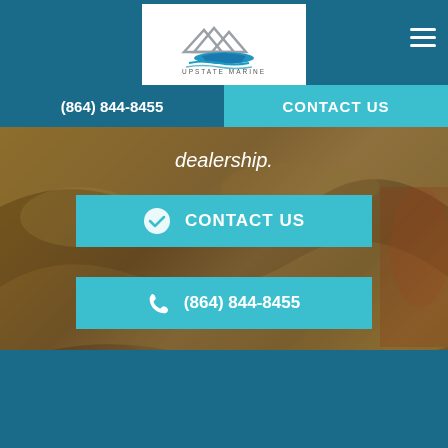[Figure (logo): Upstate Marine logo with mountain and boat graphic, white background box in top center of teal navigation bar]
(864) 844-8455
CONTACT US
[Figure (photo): Rocky/stone textured background hero image with dark brown and golden tones]
dealership.
CONTACT US
(864) 844-8455
[Figure (logo): Partial Upstate Marine logo with mountain graphic visible at bottom of page in white box]